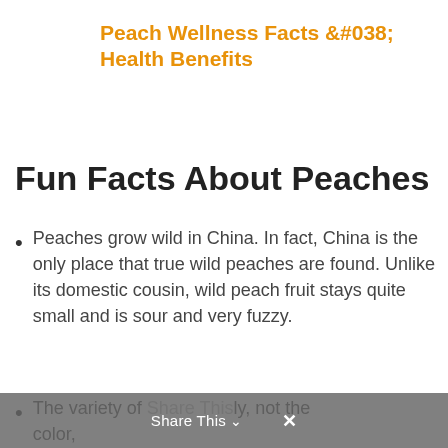Peach Wellness Facts &#038; Health Benefits
Fun Facts About Peaches
Peaches grow wild in China. In fact, China is the only place that true wild peaches are found. Unlike its domestic cousin, wild peach fruit stays quite small and is sour and very fuzzy.
The variety of Share This ly, not the color,